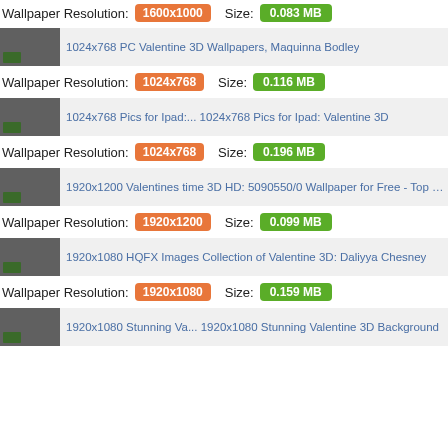Wallpaper Resolution: 1600x1000   Size: 0.083 MB
[Figure (screenshot): Thumbnail of 1024x768 PC Valentine 3D Wallpapers, Maqulima Bodley]
Wallpaper Resolution: 1024x768   Size: 0.116 MB
[Figure (screenshot): Thumbnail of 1024x768 Pics for Ipad: Valentine 3D]
Wallpaper Resolution: 1024x768   Size: 0.196 MB
[Figure (screenshot): Thumbnail of 1920x1200 Valentines time 3D HD: 5090550/0 Wallpaper for Free - Top Full HD Photo]
Wallpaper Resolution: 1920x1200   Size: 0.099 MB
[Figure (screenshot): Thumbnail of 1920x1080 HQFX Images Collection of Valentine 3D: Daliyya Chesney]
Wallpaper Resolution: 1920x1080   Size: 0.159 MB
[Figure (screenshot): Thumbnail of 1920x1080 Stunning Valentine 3D Background]